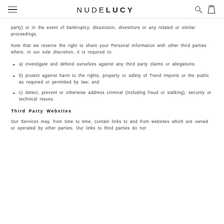NUDELUCY
party) or in the event of bankruptcy, dissolution, divestiture or any related or similar proceedings.
Note that we reserve the right to share your Personal Information with other third parties where, in our sole discretion, it is required to:
a) investigate and defend ourselves against any third party claims or allegations.
b) protect against harm to the rights, property or safety of Trend Imports or the public as required or permitted by law; and
c) detect, prevent or otherwise address criminal (including fraud or stalking), security or technical issues.
Third Party Websites
Our Services may, from time to time, contain links to and from websites which are owned or operated by other parties. Our links to third parties do not